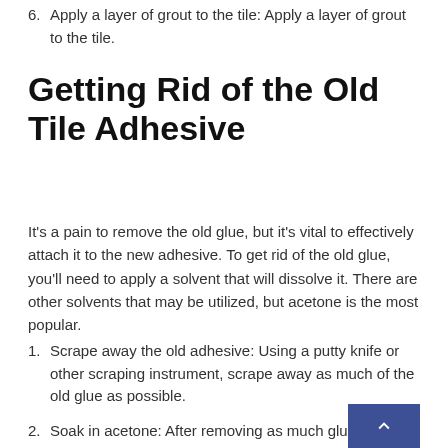6. Apply a layer of grout to the tile: Apply a layer of grout to the tile.
Getting Rid of the Old Tile Adhesive
It's a pain to remove the old glue, but it's vital to effectively attach it to the new adhesive. To get rid of the old glue, you'll need to apply a solvent that will dissolve it. There are other solvents that may be utilized, but acetone is the most popular.
1. Scrape away the old adhesive: Using a putty knife or other scraping instrument, scrape away as much of the old glue as possible.
2. Soak in acetone: After removing as much glue as possible, soak a cloth in acetone and apply it over the adhesive. Allow a few minutes for the acetone to absorb.
3. Scrape away any residual glue with a scraper or tool.